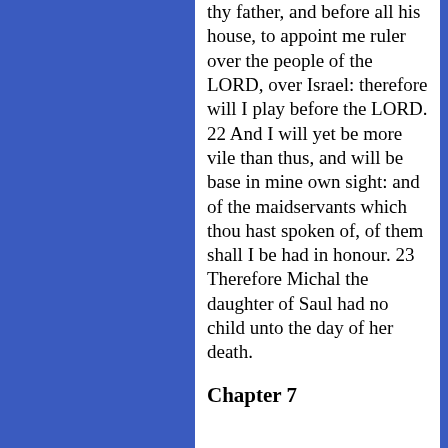thy father, and before all his house, to appoint me ruler over the people of the LORD, over Israel: therefore will I play before the LORD. 22 And I will yet be more vile than thus, and will be base in mine own sight: and of the maidservants which thou hast spoken of, of them shall I be had in honour. 23 Therefore Michal the daughter of Saul had no child unto the day of her death.
Chapter 7